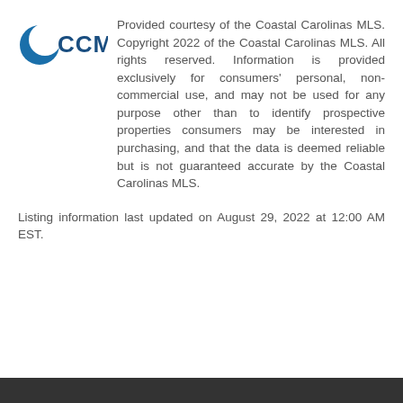[Figure (logo): CCMLS logo — a stylized blue crescent/C shape on the left and 'CCMLS' in bold dark blue text on the right]
Provided courtesy of the Coastal Carolinas MLS. Copyright 2022 of the Coastal Carolinas MLS. All rights reserved. Information is provided exclusively for consumers' personal, non-commercial use, and may not be used for any purpose other than to identify prospective properties consumers may be interested in purchasing, and that the data is deemed reliable but is not guaranteed accurate by the Coastal Carolinas MLS.
Listing information last updated on August 29, 2022 at 12:00 AM EST.